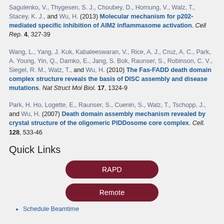Sagulenko, V., Thygesen, S. J., Choubey, D., Hornung, V., Walz, T., Stacey, K. J., and Wu, H. (2013) Molecular mechanism for p202-mediated specific inhibition of AIM2 inflammasome activation. Cell Rep. 4, 327-39
Wang, L., Yang, J. Kuk, Kabaleeswaran, V., Rice, A. J., Cruz, A. C., Park, A. Young, Yin, Q., Damko, E., Jang, S. Bok, Raunser, S., Robinson, C. V., Siegel, R. M., Walz, T., and Wu, H. (2010) The Fas-FADD death domain complex structure reveals the basis of DISC assembly and disease mutations. Nat Struct Mol Biol. 17, 1324-9
Park, H. Ho, Logette, E., Raunser, S., Cuenin, S., Walz, T., Tschopp, J., and Wu, H. (2007) Death domain assembly mechanism revealed by crystal structure of the oligomeric PIDDosome core complex. Cell. 128, 533-46
Quick Links
[Figure (other): Two rounded rectangle buttons labeled RAPD and Remote, dark red/maroon color]
Schedule Beamtime